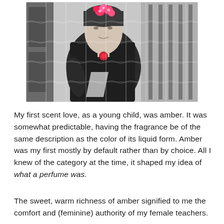[Figure (photo): Black and white photo of a woman with pink/red flowers in her hair, wearing a black top with a red brooch, standing in what appears to be a store or shop. The photo has a puzzle piece overlay pattern across it.]
My first scent love, as a young child, was amber. It was somewhat predictable, having the fragrance be of the same description as the color of its liquid form. Amber was my first mostly by default rather than by choice. All I knew of the category at the time, it shaped my idea of what a perfume was.
The sweet, warm richness of amber signified to me the comfort and (feminine) authority of my female teachers.